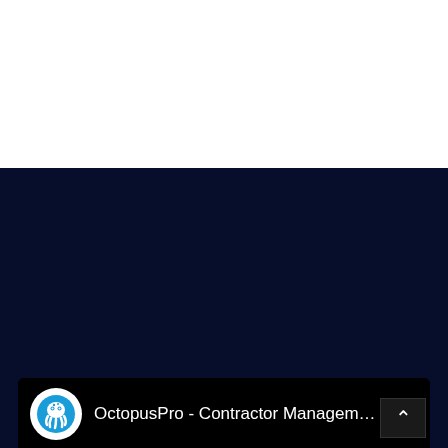[Figure (screenshot): Screenshot of a YouTube video card on a dark navy background. The card shows the OctopusPro channel logo (blue octopus icon on white circle) and the channel title 'OctopusPro - Contractor Managem...' with a three-dot menu icon on the right. The video area below is black/empty. A scroll-up button is visible at the bottom-right.]